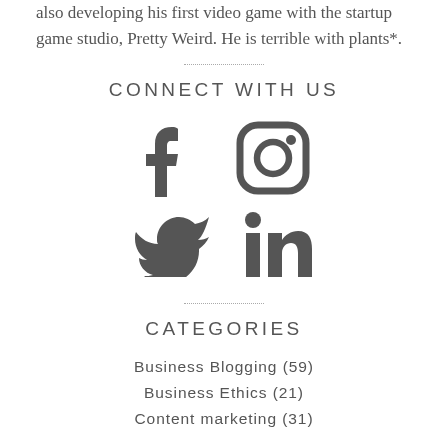also developing his first video game with the startup game studio, Pretty Weird. He is terrible with plants*.
CONNECT WITH US
[Figure (illustration): Social media icons: Facebook, Instagram, Twitter, LinkedIn]
CATEGORIES
Business Blogging (59)
Business Ethics (21)
Content marketing (31)